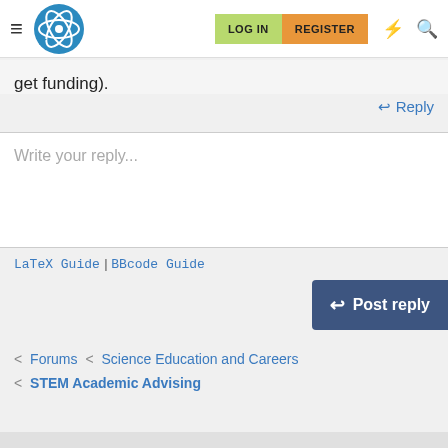LOG IN | REGISTER
get funding).
↩ Reply
Write your reply...
LaTeX Guide | BBcode Guide
↩ Post reply
< Forums < Science Education and Careers < STEM Academic Advising